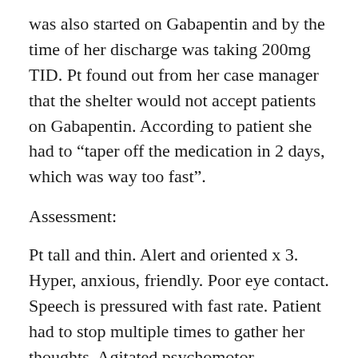was also started on Gabapentin and by the time of her discharge was taking 200mg TID. Pt found out from her case manager that the shelter would not accept patients on Gabapentin. According to patient she had to “taper off the medication in 2 days, which was way too fast”.
Assessment:
Pt tall and thin. Alert and oriented x 3. Hyper, anxious, friendly. Poor eye contact. Speech is pressured with fast rate. Patient had to stop multiple times to gather her thoughts. Agitated psychomotor movement in her hands and arms. She reports anxiety 5/10. Denies SI/HI/AVH. Denies mood swings. Pt reports high energy and inability to concentrate. She reports not sleeping well since she was discharged from Brandywine
Plan: